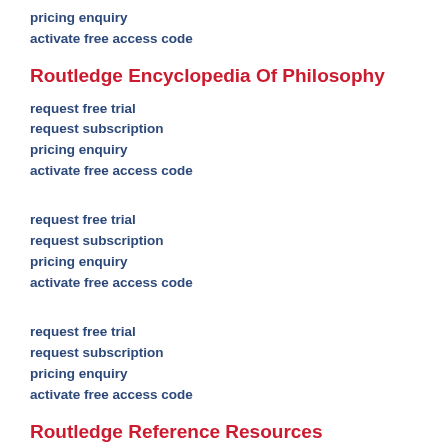pricing enquiry
activate free access code
Routledge Encyclopedia Of Philosophy
request free trial
request subscription
pricing enquiry
activate free access code
request free trial
request subscription
pricing enquiry
activate free access code
request free trial
request subscription
pricing enquiry
activate free access code
Routledge Reference Resources
request free trial of a resource
request subscription to a resource